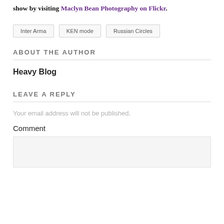show by visiting Maclyn Bean Photography on Flickr.
Inter Arma
KEN mode
Russian Circles
ABOUT THE AUTHOR
Heavy Blog
LEAVE A REPLY
Your email address will not be published.
Comment